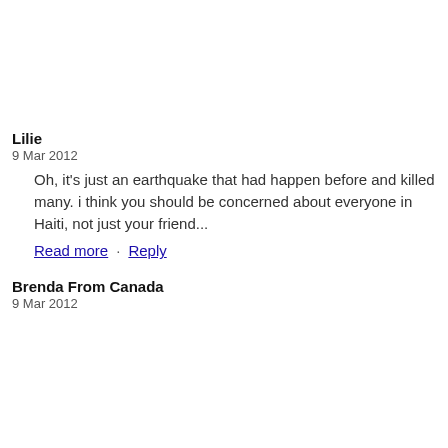Lilie
9 Mar 2012
Oh, it's just an earthquake that had happen before and killed many. i think you should be concerned about everyone in Haiti, not just your friend...
Read more · Reply
Brenda From Canada
9 Mar 2012